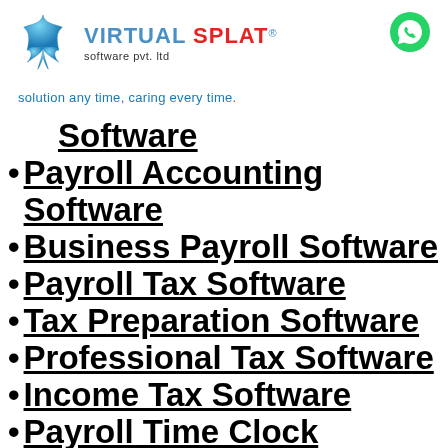[Figure (logo): Virtual Splat Software Pvt. Ltd. logo with blue star and company name]
solution any time, caring every time.
Software
Payroll Accounting Software
Business Payroll Software
Payroll Tax Software
Tax Preparation Software
Professional Tax Software
Income Tax Software
Payroll Time Clock Software